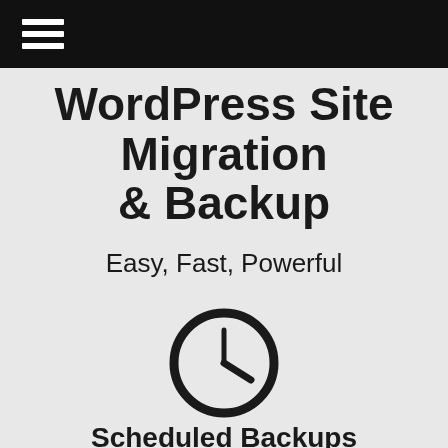≡
WordPress Site Migration & Backup
Easy, Fast, Powerful
[Figure (illustration): Clock icon showing approximately 4 o'clock time, rendered as a thick circle outline with clock hands]
Scheduled Backups